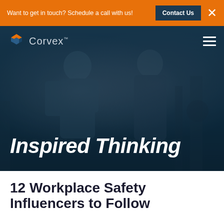Want to get in touch? Schedule a call with us!  Contact Us  ×
[Figure (logo): Corvex logo with hexagonal icon and wordmark]
Inspired Thinking
12 Workplace Safety Influencers to Follow